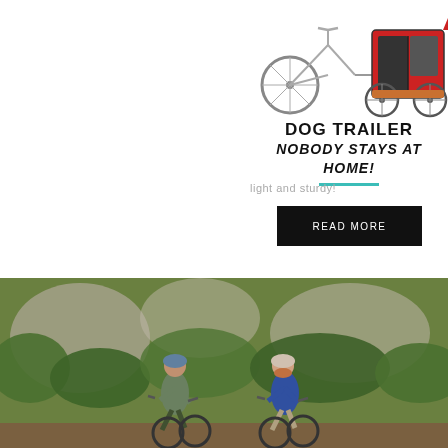[Figure (photo): A bicycle with a red and dark gray dog trailer attached to it, shown on a white background.]
DOG TRAILER
NOBODY STAYS AT HOME!
light and sturdy!
[Figure (photo): Two cyclists wearing helmets riding mountain bikes on a trail surrounded by green trees and rocky terrain. A man in a gray shirt and a woman in a blue shirt are riding side by side.]